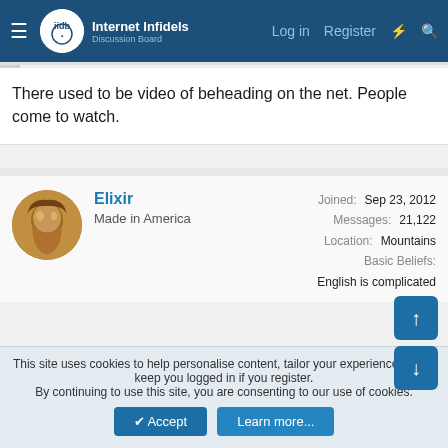Internet Infidels — Log in  Register
There used to be video of beheading on the net. People come to watch.
Elixir
Made in America
Joined: Sep 23, 2012
Messages: 21,122
Location: Mountains
Basic Beliefs: English is complicated
May 17, 2022  #4,883
steve_bank said:
Elixir said:
This site uses cookies to help personalise content, tailor your experience and to keep you logged in if you register.
By continuing to use this site, you are consenting to our use of cookies.